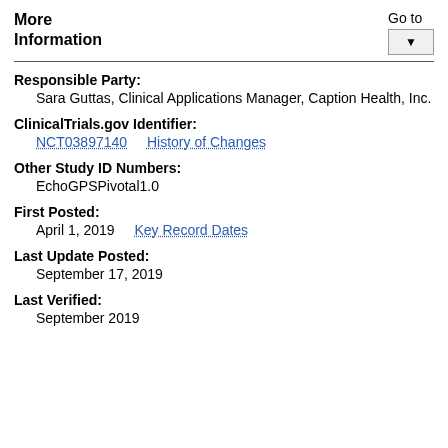More Information
Go to [dropdown]
Responsible Party:
Sara Guttas, Clinical Applications Manager, Caption Health, Inc.
ClinicalTrials.gov Identifier:
NCT03897140    History of Changes
Other Study ID Numbers:
EchoGPSPivotal1.0
First Posted:
April 1, 2019    Key Record Dates
Last Update Posted:
September 17, 2019
Last Verified:
September 2019